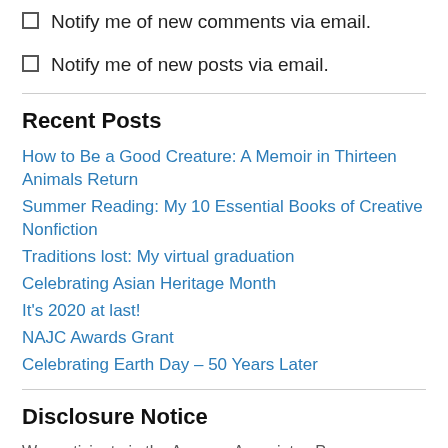Notify me of new comments via email.
Notify me of new posts via email.
Recent Posts
How to Be a Good Creature: A Memoir in Thirteen Animals Return
Summer Reading: My 10 Essential Books of Creative Nonfiction
Traditions lost: My virtual graduation
Celebrating Asian Heritage Month
It's 2020 at last!
NAJC Awards Grant
Celebrating Earth Day – 50 Years Later
Disclosure Notice
We participate in the Amazon Associates Program, an affiliate